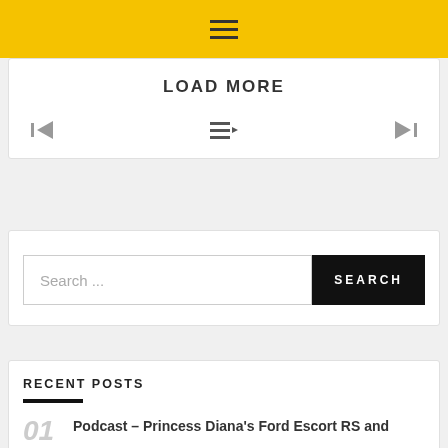[Figure (other): Yellow header navigation bar with hamburger menu icon (three horizontal lines)]
LOAD MORE
[Figure (other): Pagination row with skip-to-start icon (left), playlist/menu icon (center), skip-to-end icon (right)]
[Figure (other): Search bar with placeholder text 'Search ...' and a black SEARCH button]
RECENT POSTS
Podcast – Princess Diana's Ford Escort RS and